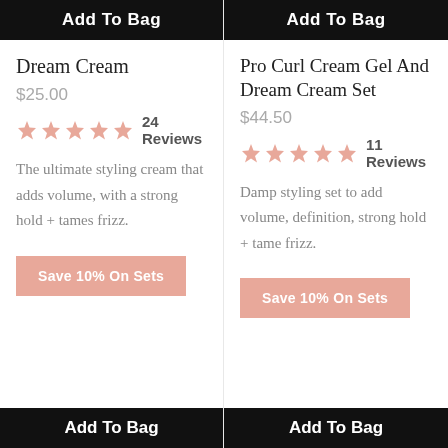Add To Bag
Add To Bag
Dream Cream
$25.00
24 Reviews
The ultimate styling cream that adds volume, with a strong hold + tames frizz.
Save 10% On Sets
Pro Curl Cream Gel And Dream Cream Set
$44.50
11 Reviews
Damp styling set to add volume, definition, strong hold + tame frizz.
Save 10% On Sets
Add To Bag
Add To Bag